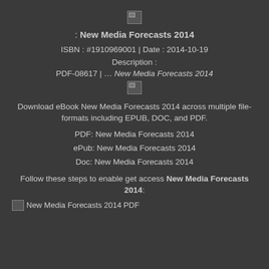[Figure (other): Broken/missing image icon at top center]
: New Media Forecasts 2014
ISBN : #1910969001 | Date : 2014-10-19
Description :
PDF-08617 | … New Media Forecasts 2014
[Figure (other): Broken/missing image icon middle center]
Download eBook New Media Forecasts 2014 across multiple file-formats including EPUB, DOC, and PDF.
PDF: New Media Forecasts 2014
ePub: New Media Forecasts 2014
Doc: New Media Forecasts 2014
Follow these steps to enable get access New Media Forecasts 2014:
[Figure (other): Broken/missing image icon at bottom left with partial text]